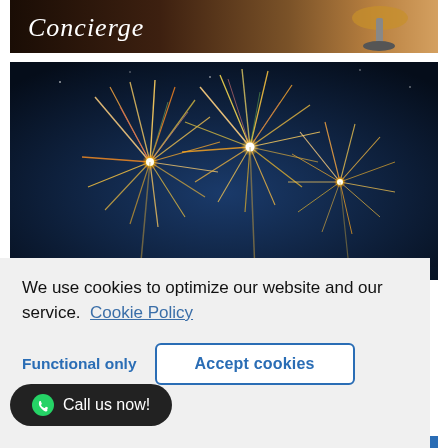[Figure (photo): Top strip photo of a concierge desk with a lamp, dark warm tones, text 'Concierge' overlaid in white italic]
[Figure (photo): Fireworks exploding against a dark blue night sky, colorful sparks in gold, red, and green]
We use cookies to optimize our website and our service.  Cookie Policy
Functional only
Accept cookies
Call us now!